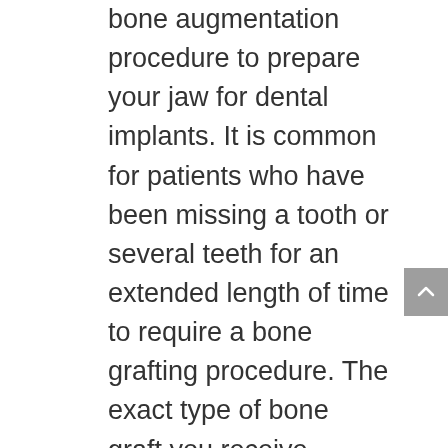bone augmentation procedure to prepare your jaw for dental implants. It is common for patients who have been missing a tooth or several teeth for an extended length of time to require a bone grafting procedure. The exact type of bone graft you receive depends on your condition and the location of the bone loss. Sometimes a sinus lift is required — this type of bone grafting surgery restores lost bone to a patient's upper jaw (maxilla) when it is found to be too thin for the placement of dental implants. The sinuses are located above your top